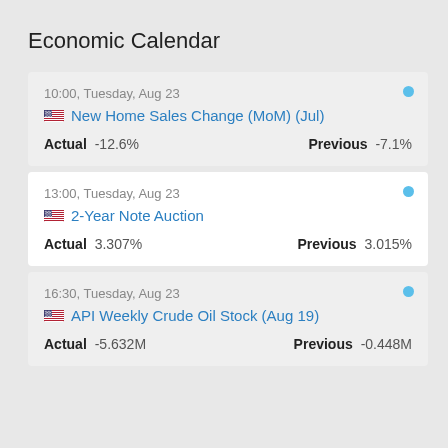Economic Calendar
10:00, Tuesday, Aug 23
New Home Sales Change (MoM) (Jul)
Actual -12.6%    Previous -7.1%
13:00, Tuesday, Aug 23
2-Year Note Auction
Actual 3.307%    Previous 3.015%
16:30, Tuesday, Aug 23
API Weekly Crude Oil Stock (Aug 19)
Actual -5.632M    Previous -0.448M